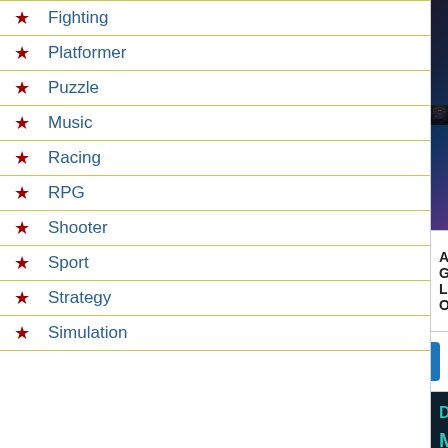Fighting
Platformer
Puzzle
Music
Racing
RPG
Shooter
Sport
Strategy
Simulation
[Figure (photo): Dark sci-fi/action game screenshot showing armored character with glowing eyes]
All G... List O...
[Figure (logo): PS2 PlayStation 2 logo in blue]
[Figure (illustration): Discover Moon Soon Token advertisement banner with rocket icon and teal text on dark background]
BACK TO TOP
Robotech Battlecry